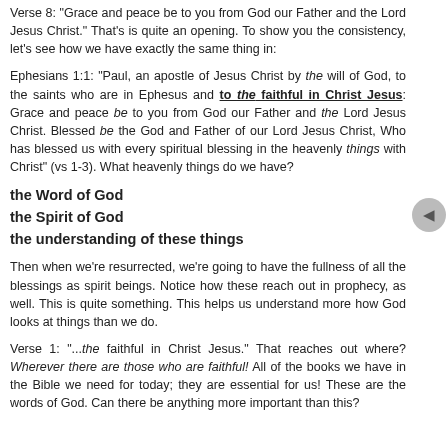Verse 8: "Grace and peace be to you from God our Father and the Lord Jesus Christ." That's is quite an opening. To show you the consistency, let's see how we have exactly the same thing in:
Ephesians 1:1: "Paul, an apostle of Jesus Christ by the will of God, to the saints who are in Ephesus and to the faithful in Christ Jesus: Grace and peace be to you from God our Father and the Lord Jesus Christ. Blessed be the God and Father of our Lord Jesus Christ, Who has blessed us with every spiritual blessing in the heavenly things with Christ" (vs 1-3). What heavenly things do we have?
the Word of God
the Spirit of God
the understanding of these things
Then when we're resurrected, we're going to have the fullness of all the blessings as spirit beings. Notice how these reach out in prophecy, as well. This is quite something. This helps us understand more how God looks at things than we do.
Verse 1: "...the faithful in Christ Jesus." That reaches out where? Wherever there are those who are faithful! All of the books we have in the Bible we need for today; they are essential for us! These are the words of God. Can there be anything more important than this?